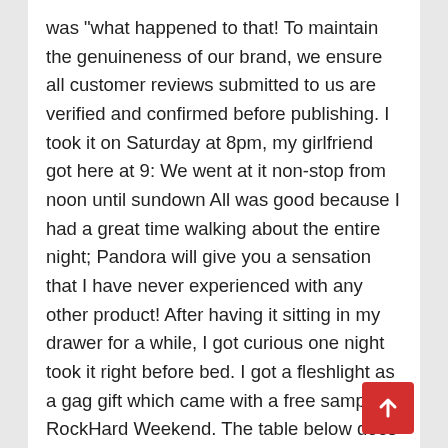was "what happened to that! To maintain the genuineness of our brand, we ensure all customer reviews submitted to us are verified and confirmed before publishing. I took it on Saturday at 8pm, my girlfriend got here at 9: We went at it non-stop from noon until sundown All was good because I had a great time walking about the entire night; Pandora will give you a sensation that I have never experienced with any other product! After having it sitting in my drawer for a while, I got curious one night took it right before bed. I got a fleshlight as a gag gift which came with a free sample of RockHard Weekend. The table below does not include all companies or all available products in the market but those that we promote as their affiliates. After doing some good research we found that they use the following:. Your product is absolutely fabulous Eager man trying to get